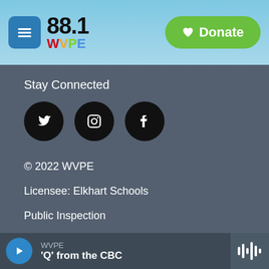88.1 WVPE — Donate
Stay Connected
[Figure (other): Social media icons: Twitter, Instagram, Facebook]
© 2022 WVPE
Licensee: Elkhart Schools
Public Inspection
Integrity Code
WVPE Privacy Policy
WVPE — 'Q' from the CBC